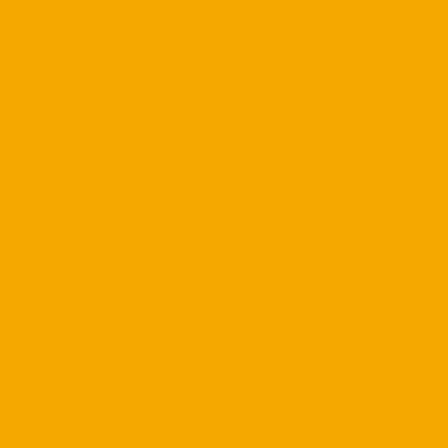TECLADO DE MEMBRANA SIEMENS SIMATIC MP370 12" Type A
[Figure (photo): Siemens SIMATIC MP370 membrane keyboard product photo - Type A]
TECLADO DE MEMBRANA SIEMENS SIMATIC MP370 12" Type B
[Figure (photo): Siemens SIMATIC MP370 membrane keyboard product photo - Type B]
TECLADO DE